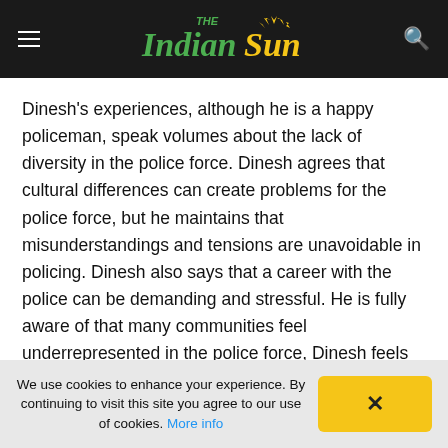The Indian Sun
Dinesh's experiences, although he is a happy policeman, speak volumes about the lack of diversity in the police force. Dinesh agrees that cultural differences can create problems for the police force, but he maintains that misunderstandings and tensions are unavoidable in policing. Dinesh also says that a career with the police can be demanding and stressful. He is fully aware of that many communities feel underrepresented in the police force, Dinesh feels that some of this is due to the lack of interest in the police as a career path, he says. The reasons for this lack of interest, however, may seem quite contradictory. Just like the talk about diversity: the police force
We use cookies to enhance your experience. By continuing to visit this site you agree to our use of cookies. More info